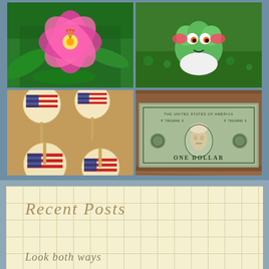[Figure (photo): 2x2 grid of photos: top-left is a pink flower/lily on green foliage background; top-right is a green cartoon creature/Pokemon toy on grass; bottom-left is patriotic American flag sugar cookies on sticks; bottom-right is a US one dollar bill on wooden surface]
Recent Posts
Look both ways